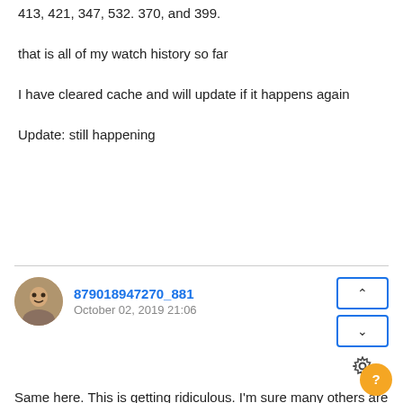413, 421, 347, 532. 370, and 399.
that is all of my watch history so far
I have cleared cache and will update if it happens again
Update: still happening
879018947270_881
October 02, 2019 21:06
Same here. This is getting ridiculous. I'm sure many others are also subscribing members and this is unacceptable. Not only does this error occur on the website, but the mobile app is STILL very buggy. The screen lock is a joke and is hyper sensitive. Smallest